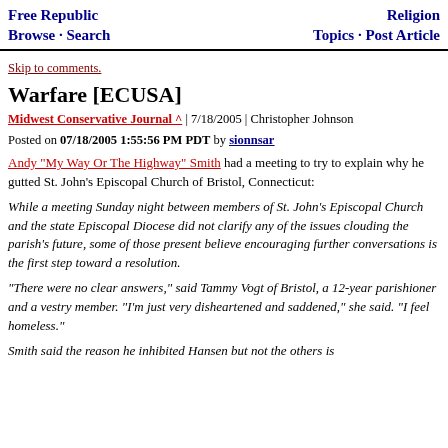Free Republic Browse · Search | Religion Topics · Post Article
Skip to comments.
Warfare [ECUSA]
Midwest Conservative Journal ^ | 7/18/2005 | Christopher Johnson
Posted on 07/18/2005 1:55:56 PM PDT by sionnsar
Andy "My Way Or The Highway" Smith had a meeting to try to explain why he gutted St. John's Episcopal Church of Bristol, Connecticut:
While a meeting Sunday night between members of St. John's Episcopal Church and the state Episcopal Diocese did not clarify any of the issues clouding the parish's future, some of those present believe encouraging further conversations is the first step toward a resolution.
"There were no clear answers," said Tammy Vogt of Bristol, a 12-year parishioner and a vestry member. "I'm just very disheartened and saddened," she said. "I feel homeless."
Smith said the reason he inhibited Hansen but not the others is